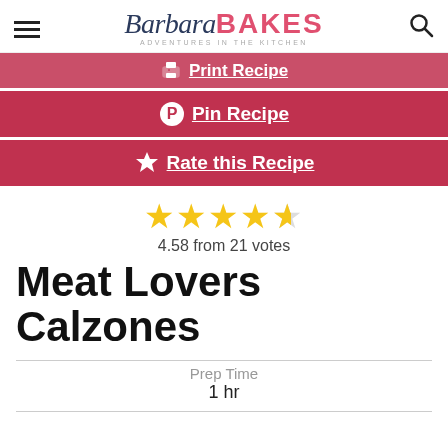Barbara BAKES — ADVENTURES in the KITCHEN
Print Recipe
Pin Recipe
Rate this Recipe
4.58 from 21 votes
Meat Lovers Calzones
Prep Time
1 hr